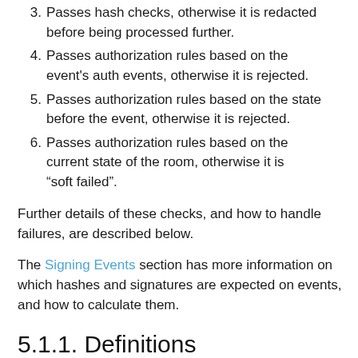3. Passes hash checks, otherwise it is redacted before being processed further.
4. Passes authorization rules based on the event's auth events, otherwise it is rejected.
5. Passes authorization rules based on the state before the event, otherwise it is rejected.
6. Passes authorization rules based on the current state of the room, otherwise it is “soft failed”.
Further details of these checks, and how to handle failures, are described below.
The Signing Events section has more information on which hashes and signatures are expected on events, and how to calculate them.
5.1.1. Definitions